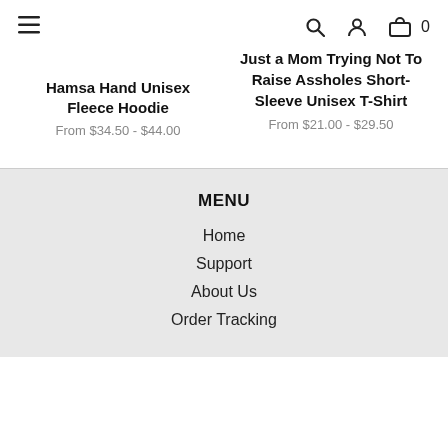☰ 🔍 👤 🛍 0
Just a Mom Trying Not To Raise Assholes Short-Sleeve Unisex T-Shirt
From $21.00 - $29.50
Hamsa Hand Unisex Fleece Hoodie
From $34.50 - $44.00
MENU
Home
Support
About Us
Order Tracking